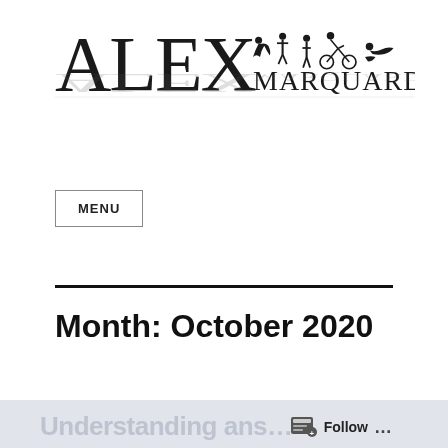[Figure (logo): Alex Marquardt logo with large stylized text 'ALEX MARQUARDT' and silhouettes of athletes (runner, person, cyclist, swimmer) with a mirror reflection below]
MENU
Month: October 2020
Understanding ans… Follow …